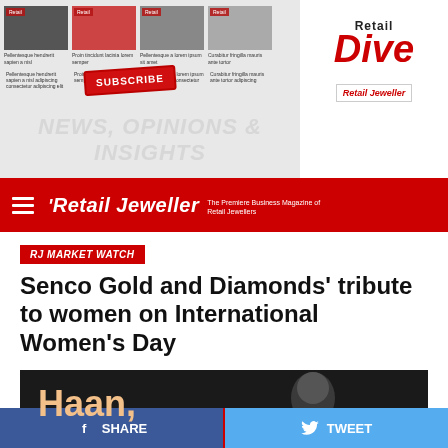[Figure (screenshot): Retail Dive newsletter advertisement banner showing magazine thumbnails with Subscribe button and NEWS, OPINIONS & INSIGHTS text, with Retail Dive logo on right side]
Retail Jeweller — The Premiere Business Magazine of Retail Jewellers
RJ MARKET WATCH
Senco Gold and Diamonds' tribute to women on International Women's Day
Published 1 year ago on March 8, 2021
[Figure (photo): Dark photograph showing a woman's face with text 'Haan,' in large peach/beige colored bold font on the left side]
SHARE
TWEET